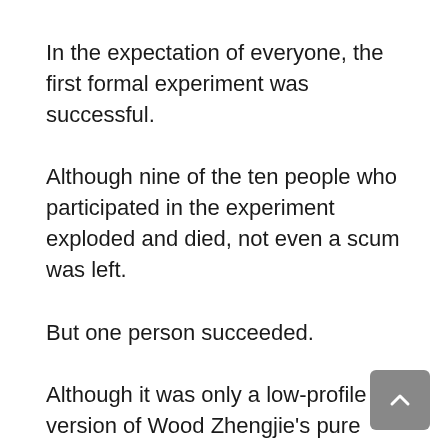In the expectation of everyone, the first formal experiment was successful.
Although nine of the ten people who participated in the experiment exploded and died, not even a scum was left.
But one person succeeded.
Although it was only a low-profile version of Wood Zhengjie's pure energy body, it was considered a success.
Only this low-profile version is now out, it can also stir the world, and it is difficult to kill.